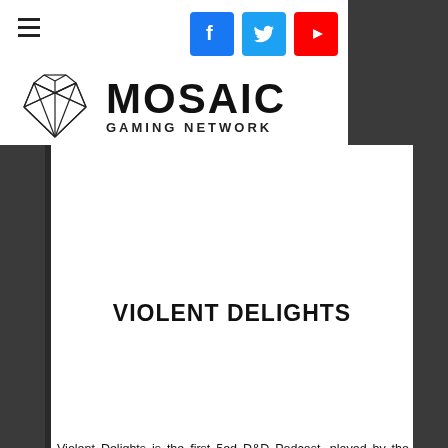[Figure (logo): Mosaic Gaming Network logo with geometric heart shape and MOSAIC GAMING NETWORK text, social media icons (Facebook, Twitter, YouTube), and hamburger menu]
VIOLENT DELIGHTS
Violent Delights is the first 5ed D&D Podcast, played by the Rolling with the Regulars crew here at Mosaic Gaming Network.
The game is run by Rebecca Emery (Dungeon Master) and comprises the convoluted tale and entwined fates of: Blatt Blanser, Thrakk Crescenthammer, Grimwalde Cogework, Zildin, Sal Hunnaith